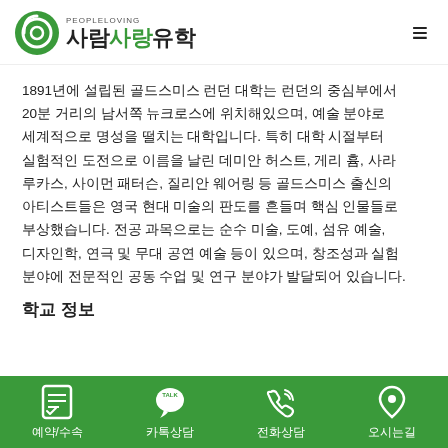[Figure (logo): 사람사랑유학 logo with green circular icon and PEOPLELOVING text]
1891년에 설립된 골드스미스 런던 대학는 런던의 중심부에서 20분 거리의 남서쪽 뉴크로스에 위치해있으며, 예술 분야로 세계적으로 명성을 떨치는 대학입니다. 특히 대학 시절부터 실험적인 도전으로 이름을 날린 데미안 허스트, 게리 흄, 사라 루카스, 사이먼 패터슨, 질리안 웨어링 등 골드스미스 출신의 아티스트들은 영국 현대 미술의 판도를 흔들며 핵심 인물들로 부상했습니다. 전공 과목으로는 순수 미술, 도예, 섬유 예술, 디자인학, 연극 및 무대 공연 예술 등이 있으며, 창조성과 실험 분야에 전문적인 공동 수업 및 연구 분야가 발달되어 있습니다.
학교 정보
[Figure (infographic): Green footer bar with four icons: 예약/수속 (checklist icon), 카톡상담 (KakaoTalk icon), 전화상담 (phone icon), 오시는길 (location pin icon)]